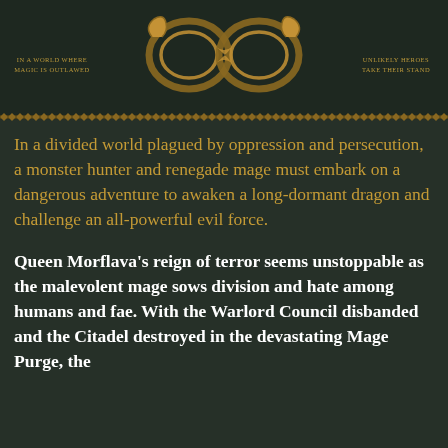[Figure (illustration): Dark green book back cover with decorative infinity-snake symbol at top, flanked by small text on left reading 'IN A WORLD WHERE MAGIC IS OUTLAWED' and right reading 'UNLIKELY HEROES TAKE THEIR STAND', with an ornamental border below]
In a divided world plagued by oppression and persecution, a monster hunter and renegade mage must embark on a dangerous adventure to awaken a long-dormant dragon and challenge an all-powerful evil force.
Queen Morflava’s reign of terror seems unstoppable as the malevolent mage sows division and hate among humans and fae. With the Warlord Council disbanded and the Citadel destroyed in the devastating Mage Purge, the